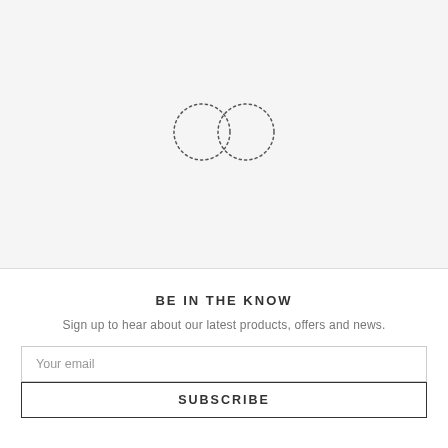[Figure (logo): Dotted infinity symbol logo made of two overlapping dotted circles forming a figure-eight shape]
BE IN THE KNOW
Sign up to hear about our latest products, offers and news.
Your email
SUBSCRIBE